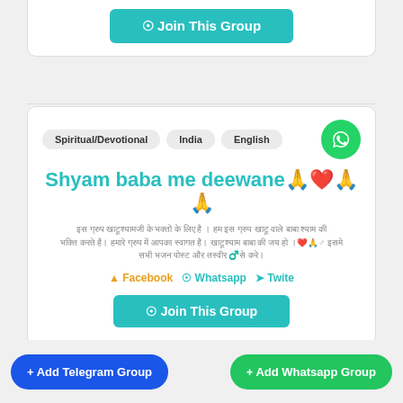[Figure (other): Join This Group button (teal/cyan) at top of page]
[Figure (other): WhatsApp group listing card with tags Spiritual/Devotional, India, English, WhatsApp icon, group title, description, share links, and Join This Group button]
Spiritual/Devotional   India   English
Shyam baba me deewane🙏❤️🙏🙏
Hindi language description of a WhatsApp devotional group for Shyam baba devotees with emoji
Facebook   Whatsapp   Twite
Join This Group
+ Add Telegram Group
+ Add Whatsapp Group